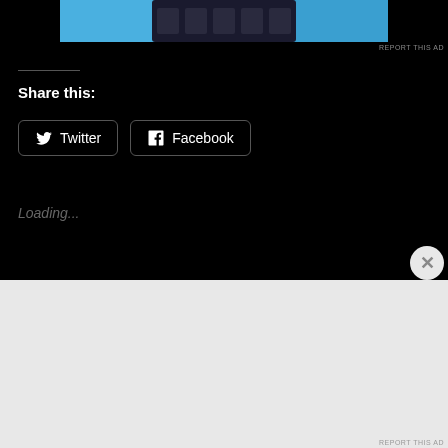[Figure (screenshot): Ad banner screenshot at top of page showing a Windows-like interface in blue tones]
REPORT THIS AD
Share this:
[Figure (other): Twitter share button with bird logo]
[Figure (other): Facebook share button with F logo]
Loading...
[Figure (screenshot): DuckDuckGo advertisement: Search, browse, and email with more privacy. All in One Free App. Shows phone with DuckDuckGo logo.]
REPORT THIS AD